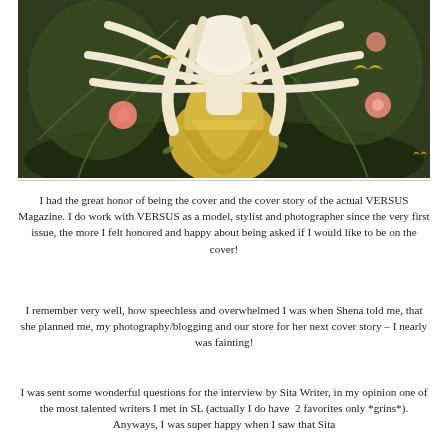[Figure (illustration): Digital illustration of an anime-style character with long white/blonde hair wearing a golden/yellow dress, surrounded by green vines, pink flowers, butterflies, and a dark nature background. The figure appears to have multiple arms outstretched.]
I had the great honor of being the cover and the cover story of the actual VERSUS Magazine. I do work with VERSUS as a model, stylist and photographer since the very first issue, the more I felt honored and happy about being asked if I would like to be on the cover!
I remember very well, how speechless and overwhelmed I was when Shena told me, that she planned me, my photography/blogging and our store for her next cover story – I nearly was fainting!
I was sent some wonderful questions for the interview by Sita Writer, in my opinion one of the most talented writers I met in SL (actually I do have  2 favorites only *grins*). Anyways, I was super happy when I saw that Sita